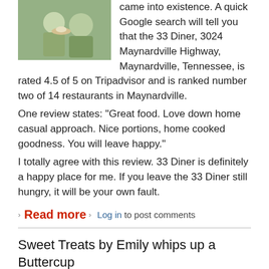[Figure (photo): Two people seated outdoors, one holding a tray with food. Partial image visible at top of page.]
came into existence. A quick Google search will tell you that the 33 Diner, 3024 Maynardville Highway, Maynardville, Tennessee, is rated 4.5 of 5 on Tripadvisor and is ranked number two of 14 restaurants in Maynardville.
One review states: “Great food. Love down home casual approach. Nice portions, home cooked goodness. You will leave happy.”
I totally agree with this review. 33 Diner is definitely a happy place for me. If you leave the 33 Diner still hungry, it will be your own fault.
» Read more » Log in to post comments
Sweet Treats by Emily whips up a Buttercup
Submitted by Kennedy Hill on Wed, 08/03/2022 - 22:13